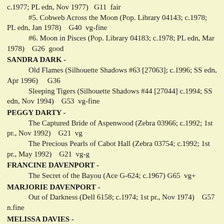c.1977; PL edn, Nov 1977)   G11  fair
#5. Cobweb Across the Moon (Pop. Library 04143; c.1978; PL edn, Jan 1978)   G40  vg-fine
#6. Moon in Pisces (Pop. Library 04183; c.1978; PL edn, Mar 1978)   G26  good
SANDRA DARK -
Old Flames (Silhouette Shadows #63 [27063]; c.1996; SS edn, Apr 1996)    G36
Sleeping Tigers (Silhouette Shadows #44 [27044] c.1994; SS edn, Nov 1994)   G53  vg-fine
PEGGY DARTY -
The Captured Bride of Aspenwood (Zebra 03966; c.1992; 1st pr., Nov 1992)   G21  vg
The Precious Pearls of Cabot Hall (Zebra 03754; c.1992; 1st pr., May 1992)   G21  vg-g
FRANCINE DAVENPORT -
The Secret of the Bayou (Ace G-624; c.1967)  G65  vg+
MARJORIE DAVENPORT -
Out of Darkness (Dell 6158; c.1974; 1st pr., Nov 1974)   G57  n.fine
MELISSA DAVIES -
The Face of Chalk (Pop. Library 04008; c.1977; PL edn, July 1977)   G2  g-vg
MILDRED DAVIS -
The Third Half (Ace 80661; c.1969)   G12  good